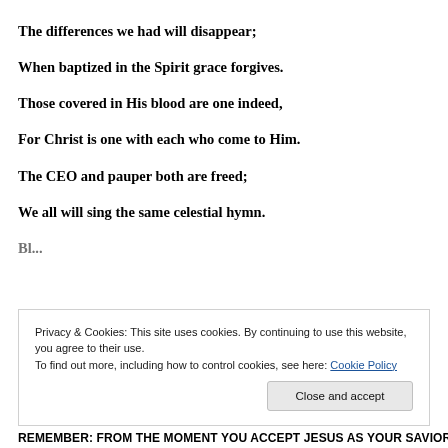The differences we had will disappear;
When baptized in the Spirit grace forgives.
Those covered in His blood are one indeed,
For Christ is one with each who come to Him.
The CEO and pauper both are freed;
We all will sing the same celestial hymn.
Privacy & Cookies: This site uses cookies. By continuing to use this website, you agree to their use. To find out more, including how to control cookies, see here: Cookie Policy
REMEMBER: From the moment you accept Jesus as your Savior